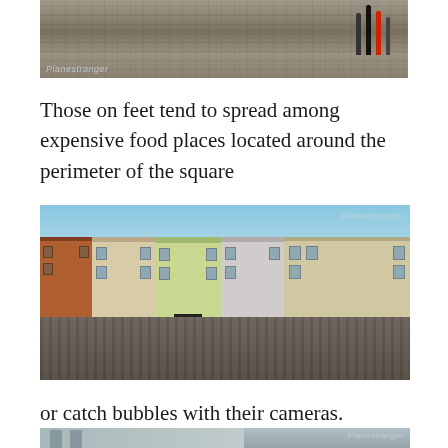[Figure (photo): Top portion of a photo showing a cobblestone square with people walking, with a 'Planestranger' watermark in the lower left]
Those on feet tend to spread among expensive food places located around the perimeter of the square
[Figure (photo): Photo of ornate historical building facades in Prague's Old Town Square with crowds of tourists in the foreground and a 'Planestranger' watermark in the upper right]
or catch bubbles with their cameras.
[Figure (photo): Bottom portion of another photo partially visible at the bottom of the page, showing buildings with a 'Planestranger' watermark]